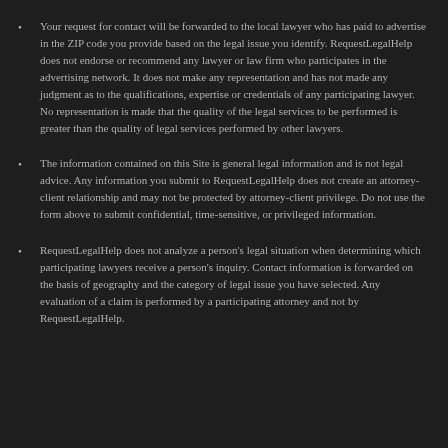Your request for contact will be forwarded to the local lawyer who has paid to advertise in the ZIP code you provide based on the legal issue you identify. RequestLegalHelp does not endorse or recommend any lawyer or law firm who participates in the advertising network. It does not make any representation and has not made any judgment as to the qualifications, expertise or credentials of any participating lawyer. No representation is made that the quality of the legal services to be performed is greater than the quality of legal services performed by other lawyers.
The information contained on this Site is general legal information and is not legal advice. Any information you submit to RequestLegalHelp does not create an attorney-client relationship and may not be protected by attorney-client privilege. Do not use the form above to submit confidential, time-sensitive, or privileged information.
RequestLegalHelp does not analyze a person's legal situation when determining which participating lawyers receive a person's inquiry. Contact information is forwarded on the basis of geography and the category of legal issue you have selected. Any evaluation of a claim is performed by a participating attorney and not by RequestLegalHelp.